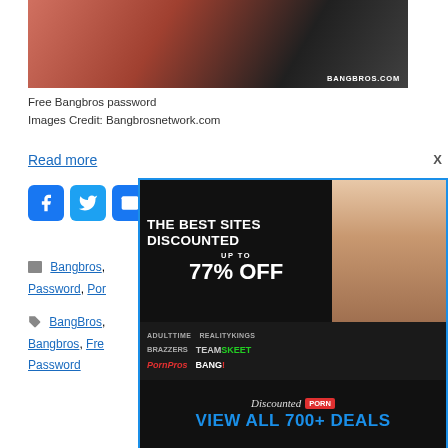[Figure (photo): Partial image of a person in red fishnet outfit on dark background, with BANGBROS.COM watermark]
Free Bangbros password
Images Credit: Bangbrosnetwork.com
Read more
[Figure (infographic): Advertisement overlay with blue border: THE BEST SITES DISCOUNTED UP TO 77% OFF, showing brand logos (ADULTTIME, REALITYKINGS, BRAZZERS, TEAM SKEET, PornPros, BANG!), and CTA: VIEW ALL 700+ DEALS]
Bangbros, Password, Por...
BangBros, Bangbros, Fre... Password